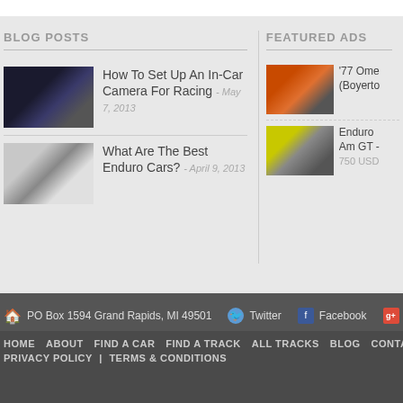BLOG POSTS
How To Set Up An In-Car Camera For Racing - May 7, 2013
What Are The Best Enduro Cars? - April 9, 2013
FEATURED ADS
'77 Ome (Boyerto
Enduro Am GT - 750 USD
PO Box 1594 Grand Rapids, MI 49501 | Twitter | Facebook | g+
HOME | ABOUT | FIND A CAR | FIND A TRACK | ALL TRACKS | BLOG | CONTACT U | PRIVACY POLICY | TERMS & CONDITIONS